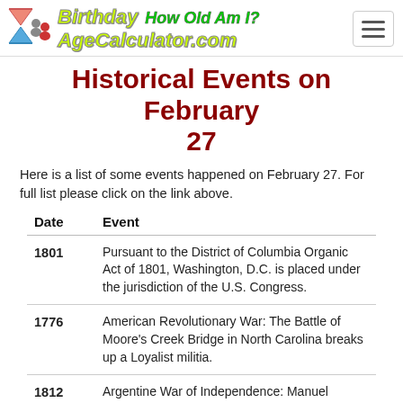Birthday AgeCalculator.com How Old Am I?
Historical Events on February 27
Here is a list of some events happened on February 27. For full list please click on the link above.
| Date | Event |
| --- | --- |
| 1801 | Pursuant to the District of Columbia Organic Act of 1801, Washington, D.C. is placed under the jurisdiction of the U.S. Congress. |
| 1776 | American Revolutionary War: The Battle of Moore's Creek Bridge in North Carolina breaks up a Loyalist militia. |
| 1812 | Argentine War of Independence: Manuel Belgrano raises the Flag of Argentina in the city of Rosario for the first time. |
| 1900 | Second Boer War: In South Africa, British military leaders receive an unconditional notice of surrender |